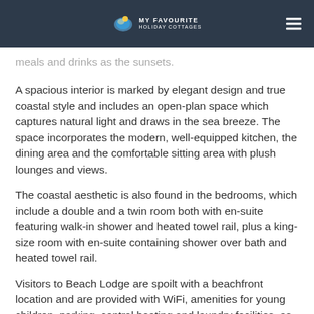MY FAVOURITE HOLIDAY COTTAGES
meals and drinks as the sunsets.
A spacious interior is marked by elegant design and true coastal style and includes an open-plan space which captures natural light and draws in the sea breeze. The space incorporates the modern, well-equipped kitchen, the dining area and the comfortable sitting area with plush lounges and views.
The coastal aesthetic is also found in the bedrooms, which include a double and a twin room both with en-suite featuring walk-in shower and heated towel rail, plus a king-size room with en-suite containing shower over bath and heated towel rail.
Visitors to Beach Lodge are spoilt with a beachfront location and are provided with WiFi, amenities for young children, parking, central heating and laundry facilities, as well as 3 TVs.
Beach Lodge sits opposite the beautiful beach at Woolacombe, within the North Devon Coast AONB, and